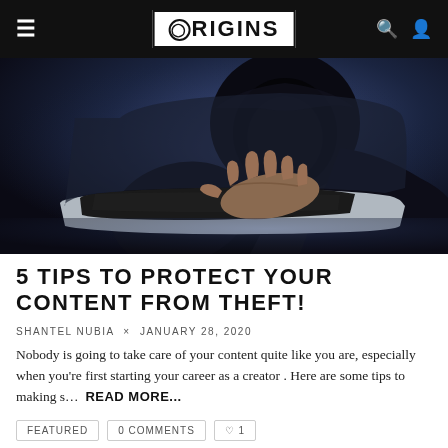ORIGINS
[Figure (photo): A person wearing a dark hoodie typing on a laptop keyboard, suggesting hacking or cybercrime activity. Dark, moody lighting with blue tones.]
5 TIPS TO PROTECT YOUR CONTENT FROM THEFT!
SHANTEL NUBIA × JANUARY 28, 2020
Nobody is going to take care of your content quite like you are, especially when you're first starting your career as a creator . Here are some tips to making s… READ MORE...
FEATURED   0 COMMENTS   ♡ 1